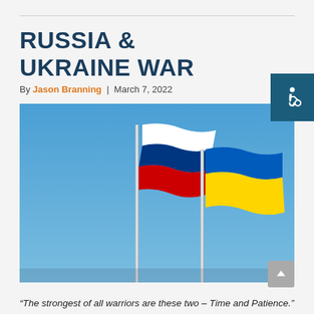RUSSIA & UKRAINE WAR
By Jason Branning | March 7, 2022
[Figure (photo): Photo of Russian and Ukrainian flags waving on flagpoles against a blue sky background.]
“The strongest of all warriors are these two – Time and Patience.”